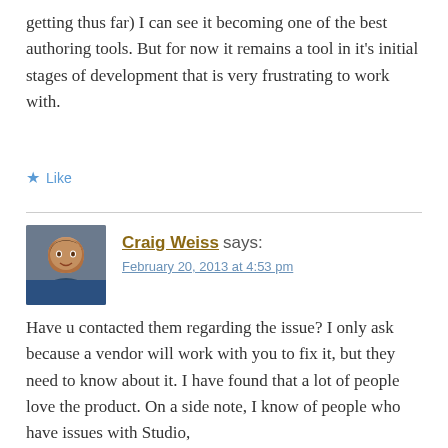getting thus far) I can see it becoming one of the best authoring tools. But for now it remains a tool in it's initial stages of development that is very frustrating to work with.
Like
Craig Weiss says:
February 20, 2013 at 4:53 pm
Have u contacted them regarding the issue? I only ask because a vendor will work with you to fix it, but they need to know about it. I have found that a lot of people love the product. On a side note, I know of people who have issues with Studio,